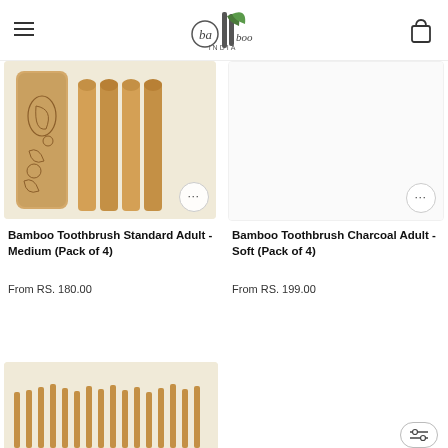Bamboo India — navigation header with logo, hamburger menu, and cart icon
[Figure (photo): Bamboo toothbrush pack product photo showing bamboo tube with paisley design and four toothbrush handles]
Bamboo Toothbrush Standard Adult - Medium (Pack of 4)
From RS. 180.00
[Figure (photo): Bamboo Toothbrush Charcoal Adult product image area (blank/white background)]
Bamboo Toothbrush Charcoal Adult - Soft (Pack of 4)
From RS. 199.00
[Figure (photo): Partial bottom product image showing bamboo comb or brush at bottom-left]
[Figure (other): Filter/options button at bottom-right]